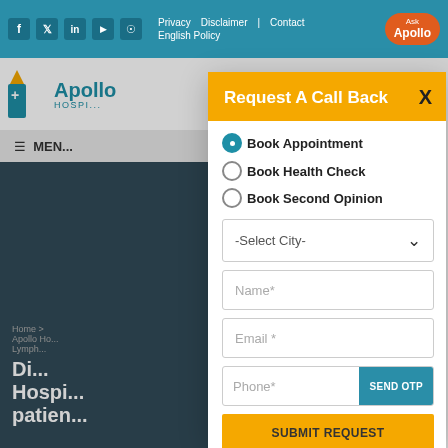Privacy Policy | Disclaimer | Contact | Ask Apollo
[Figure (screenshot): Apollo Hospitals website screenshot showing a 'Request A Call Back' modal dialog over the main website background. The modal has a yellow/gold header with title 'Request A Call Back' and an X close button. Below are radio button options: 'Book Appointment' (selected), 'Book Health Check', 'Book Second Opinion'. Form fields include: -Select City- dropdown, Name*, Email*, Phone* with SEND OTP button, and a SUBMIT REQUEST button.]
Request A Call Back
Book Appointment
Book Health Check
Book Second Opinion
-Select City-
Name*
Email*
Phone*
SEND OTP
SUBMIT REQUEST
Home > Apollo Ho... > Lymph... Di... Hospi... patien...